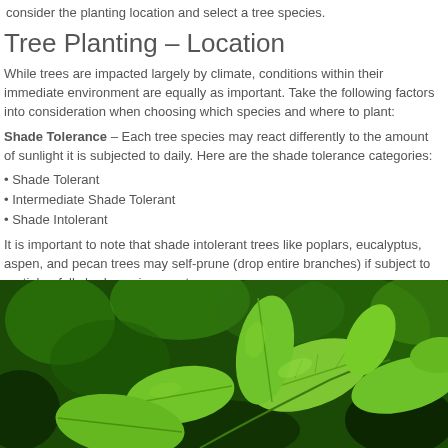consider the planting location and select a tree species.
Tree Planting – Location
While trees are impacted largely by climate, conditions within their immediate environment are equally as important. Take the following factors into consideration when choosing which species and where to plant:
Shade Tolerance – Each tree species may react differently to the amount of sunlight it is subjected to daily. Here are the shade tolerance categories:
• Shade Tolerant
• Intermediate Shade Tolerant
• Shade Intolerant
It is important to note that shade intolerant trees like poplars, eucalyptus, aspen, and pecan trees may self-prune (drop entire branches) if subject to partial or full shade environments.
[Figure (photo): Close-up photograph of bright green leaves on branches against a blurred green background]